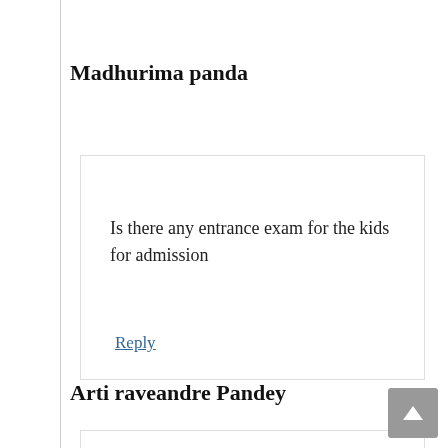Madhurima panda
Is there any entrance exam for the kids for admission
Reply
Arti raveandre Pandey